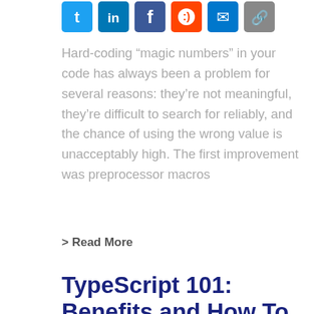[Figure (other): Social share icons: Twitter, LinkedIn, Facebook, Reddit, Email, Link (top)]
Hard-coding “magic numbers” in your code has always been a problem for several reasons: they’re not meaningful, they’re difficult to search for reliably, and the chance of using the wrong value is unacceptably high. The first improvement was preprocessor macros
> Read More
TypeScript 101: Benefits and How To Install It
Jeffrey Woltz | October 20, 2015 | 2 Comments
[Figure (other): Social share icons: Twitter, LinkedIn, Facebook, Reddit, Email, Link (bottom)]